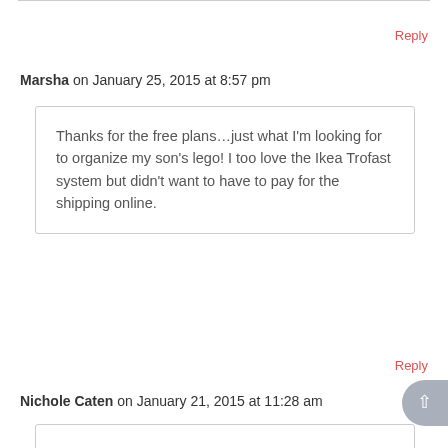Reply
Marsha on January 25, 2015 at 8:57 pm
Thanks for the free plans…just what I'm looking for to organize my son's lego! I too love the Ikea Trofast system but didn't want to have to pay for the shipping online.
Reply
Nichole Caten on January 21, 2015 at 11:28 am
Hey Whitney and Ashley, I have a question. I definitely need to add this plan in my home (to the many of yours I have already completed) for all my miscellaneous items with nowhere to put